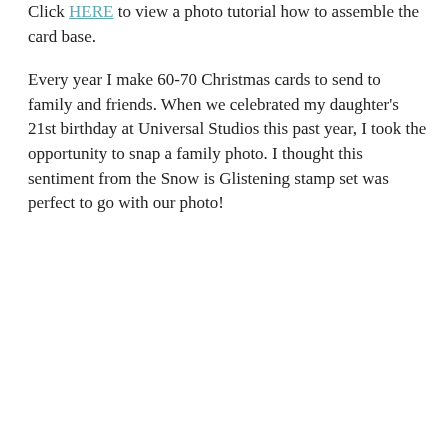Click HERE to view a photo tutorial how to assemble the card base.
Every year I make 60-70 Christmas cards to send to family and friends. When we celebrated my daughter's 21st birthday at Universal Studios this past year, I took the opportunity to snap a family photo. I thought this sentiment from the Snow is Glistening stamp set was perfect to go with our photo!